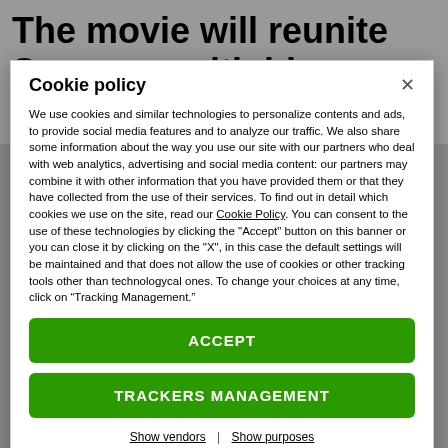The movie will reunite Scorsese with his favorite actors
Cookie policy
We use cookies and similar technologies to personalize contents and ads, to provide social media features and to analyze our traffic. We also share some information about the way you use our site with our partners who deal with web analytics, advertising and social media content: our partners may combine it with other information that you have provided them or that they have collected from the use of their services. To find out in detail which cookies we use on the site, read our Cookie Policy. You can consent to the use of these technologies by clicking the "Accept" button on this banner or you can close it by clicking on the "X", in this case the default settings will be maintained and that does not allow the use of cookies or other tracking tools other than technologycal ones. To change your choices at any time, click on “Tracking Management.”
ACCEPT
TRACKERS MANAGEMENT
Show vendors | Show purposes